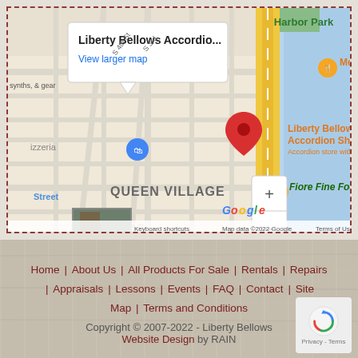[Figure (map): Google Maps screenshot showing Liberty Bellows Accordion Shop location in Philadelphia, with popup reading 'Liberty Bellows Accordio...' and 'View larger map'. Map shows Queen Village neighborhood, surrounding streets, nearby restaurants (Moshulu, Fiore Fine Food), Harbor Park area, and I-95. Map data ©2022 Google. Keyboard shortcuts and Terms of Use links visible.]
Home | About Us | All Products For Sale | Rentals | Repairs | Appraisals | Lessons | Events | FAQ | Contact | Site Map | Terms and Conditions
Copyright © 2007-2022 - Liberty Bellows
Website Design by RAIN